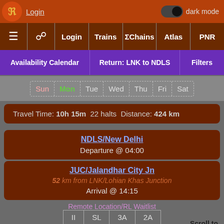Login | dark mode toggle
≡ 🔍 Login | Trains | ΣChains | Atlas | PNR
Availability Calendar | Return: LNK to NDLS | Filters
Sun Mon Tue Wed Thu Fri Sat
Travel Time: 10h 15m  22 halts  Distance: 424 km
NDLS/New Delhi
Departure @ 04:00
JUC/Jalandhar City Jn
52 km from LNK/Lohian Khas Junction
Arrival @ 14:15
Remote Location/RL Waitlist
II  SL  3A  2A
Dep Time Changed. Arr Time Changed. Speeded up by: 1
TT Updated: Aug 04 (11:24) by Karthik.iyer27^~
Scroll to Bottom